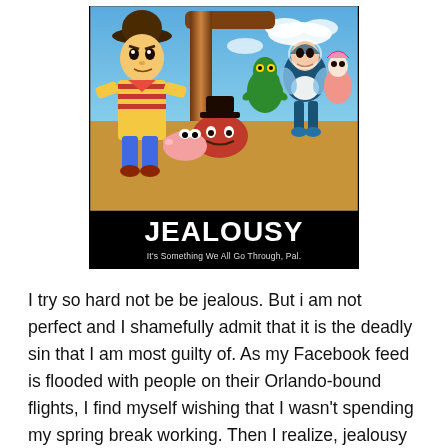[Figure (illustration): Motivational poster style image featuring Toy Story characters (Woody, Buzz Lightyear, Rex, Mr. Potato Head, and others) with black background. Title reads JEALOUSY in large white bold text, subtitle reads: It's Something We All Go Through, Pal.]
I try so hard not be be jealous. But i am not perfect and I shamefully admit that it is the deadly sin that I am most guilty of. As my Facebook feed is flooded with people on their Orlando-bound flights, I find myself wishing that I wasn't spending my spring break working. Then I realize, jealousy is really about timing, isn't it? I am a very fortunate person, my family and I have had some